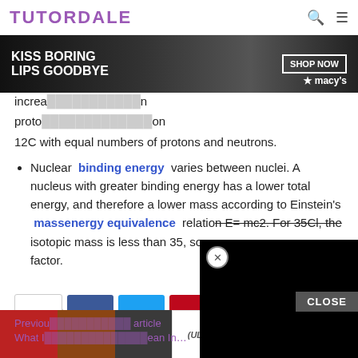TUTORDALE
[Figure (photo): Beauty advertisement banner: 'KISS BORING LIPS GOODBYE' with woman's face and red lips, SHOP NOW button, Macy's logo]
increases in atomic number and atomic mass beyond those based on protons and neutrons. The mass defect arises based on 12C with equal numbers of protons and neutrons.
Nuclear binding energy varies between nuclei. A nucleus with greater binding energy has a lower total energy, and therefore a lower mass according to Einstein's massenergy equivalence relation E= mc2. For 35Cl, the isotopic mass is less than 35, so… factor.
[Figure (screenshot): Black video player overlay with X close button]
[Figure (infographic): Social share buttons: native share, Facebook, Twitter, Pinterest, WhatsApp]
CLOSE
[Figure (photo): Bottom advertisement strip: beauty product images, ULTA logo, SHOP NOW text]
Previous article What I… article Mean In…